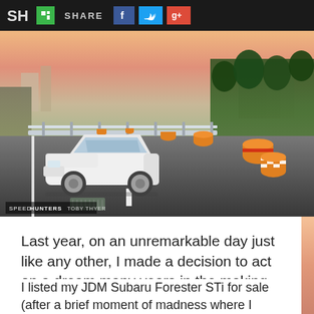SPEEDHUNTERS SHARE
[Figure (photo): A white sports car (Nissan 180SX/240SX) driving on a Japanese road with orange construction barrels and guardrails on the side, green vegetation and buildings in the background, warm sunset sky. Watermark reads: SPEEDHUNTERS TOBY THYER]
Last year, on an unremarkable day just like any other, I made a decision to act on a dream many years in the making.
I listed my JDM Subaru Forester STi for sale (after a brief moment of madness where I